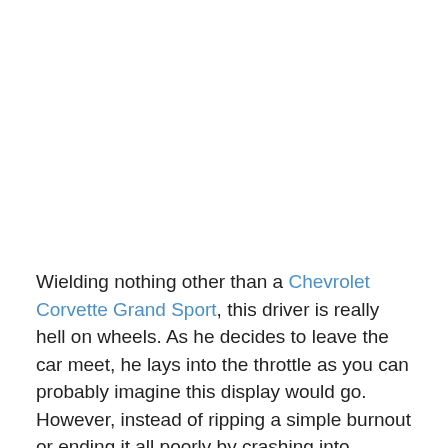Wielding nothing other than a Chevrolet Corvette Grand Sport, this driver is really hell on wheels. As he decides to leave the car meet, he lays into the throttle as you can probably imagine this display would go. However, instead of ripping a simple burnout or ending it all poorly by crashing into something, this drivers really is in it to win it as he throws the Corvette all over the place, really driving it like he stole it as he expertly slides across multiple lanes of roadway and it looks like an absolute pro is behind the wheel, guiding the car almost like it's an extra limb of his body.